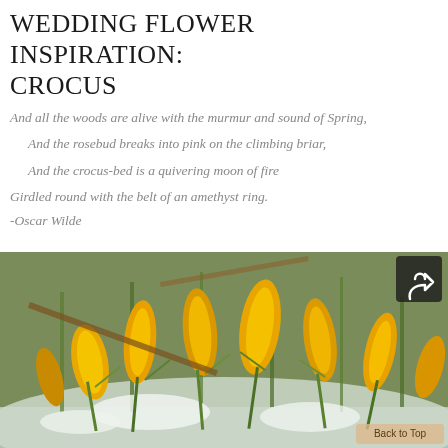WEDDING FLOWER INSPIRATION: CROCUS
And all the woods are alive with the murmur and sound of Spring,
  And the rosebud breaks into pink on the climbing briar,
  And the crocus-bed is a quivering moon of fire
Girdled round with the belt of an amethyst ring.
-Oscar Wilde
[Figure (photo): Close-up photograph of yellow crocus flowers emerging through snow in a garden setting, with green stems and a blurred natural background. A dark share button icon appears in the upper right corner of the image, and a 'Back to Top' button appears in the lower right.]